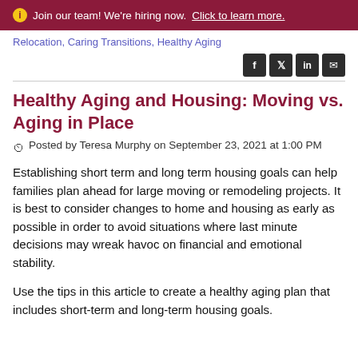Join our team! We're hiring now. Click to learn more.
Relocation, Caring Transitions, Healthy Aging
Healthy Aging and Housing: Moving vs. Aging in Place
Posted by Teresa Murphy on September 23, 2021 at 1:00 PM
Establishing short term and long term housing goals can help families plan ahead for large moving or remodeling projects. It is best to consider changes to home and housing as early as possible in order to avoid situations where last minute decisions may wreak havoc on financial and emotional stability.
Use the tips in this article to create a healthy aging plan that includes short-term and long-term housing goals.